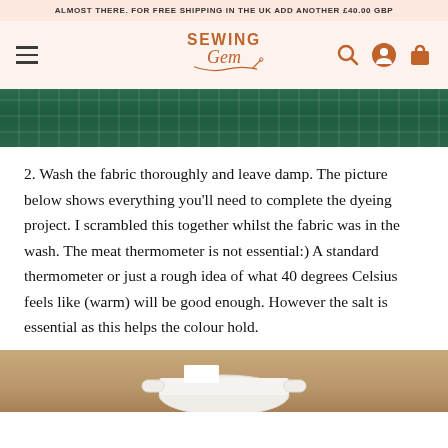ALMOST THERE. FOR FREE SHIPPING IN THE UK ADD ANOTHER £40.00 GBP
[Figure (logo): Sewing Gem logo with decorative script and needle/thread illustration in terracotta/rust color]
[Figure (photo): Green cutting mat with grid lines, viewed from above]
2. Wash the fabric thoroughly and leave damp. The picture below shows everything you'll need to complete the dyeing project. I scrambled this together whilst the fabric was in the wash. The meat thermometer is not essential:) A standard thermometer or just a rough idea of what 40 degrees Celsius feels like (warm) will be good enough. However the salt is essential as this helps the colour hold.
[Figure (photo): Photo of a white ceramic bowl or dish on a wooden surface, partially visible at bottom of page]